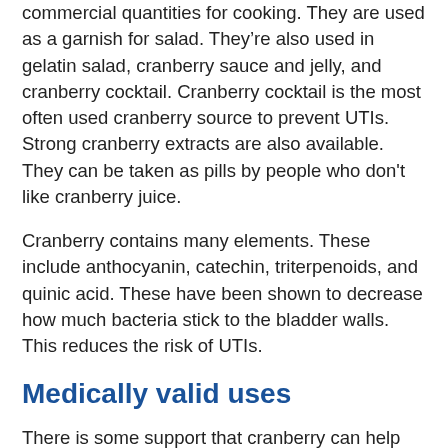commercial quantities for cooking. They are used as a garnish for salad. They’re also used in gelatin salad, cranberry sauce and jelly, and cranberry cocktail. Cranberry cocktail is the most often used cranberry source to prevent UTIs. Strong cranberry extracts are also available. They can be taken as pills by people who don't like cranberry juice.
Cranberry contains many elements. These include anthocyanin, catechin, triterpenoids, and quinic acid. These have been shown to decrease how much bacteria stick to the bladder walls. This reduces the risk of UTIs.
Medically valid uses
There is some support that cranberry can help prevent UTIs. Note that this isn’t definitive. More research is needed.
Cranberry juice keeps bacteria from clinging to the bladder walls. It also increases the acidity of the urine.